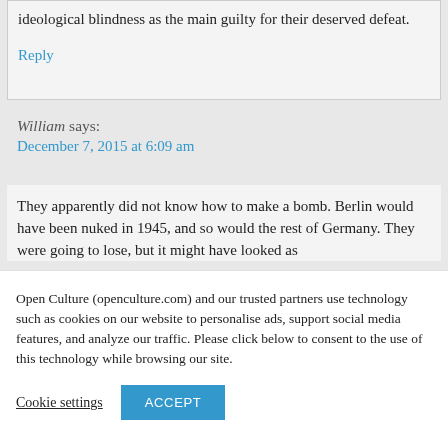ideological blindness as the main guilty for their deserved defeat.
Reply
William says:
December 7, 2015 at 6:09 am
They apparently did not know how to make a bomb. Berlin would have been nuked in 1945, and so would the rest of Germany. They were going to lose, but it might have looked as
Open Culture (openculture.com) and our trusted partners use technology such as cookies on our website to personalise ads, support social media features, and analyze our traffic. Please click below to consent to the use of this technology while browsing our site.
Cookie settings
ACCEPT